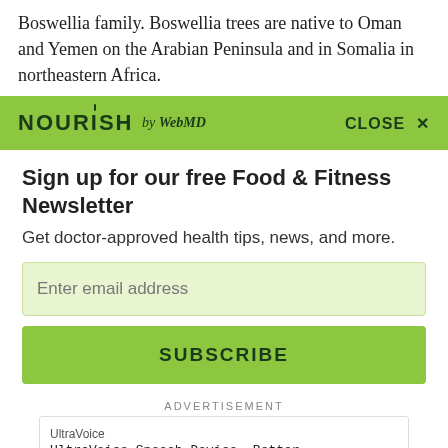Boswellia family. Boswellia trees are native to Oman and Yemen on the Arabian Peninsula and in Somalia in northeastern Africa.
[Figure (logo): NOURISH by WebMD green banner with CLOSE X button]
Sign up for our free Food & Fitness Newsletter
Get doctor-approved health tips, news, and more.
[Figure (screenshot): Email input field with placeholder 'Enter email address']
[Figure (screenshot): SUBSCRIBE button in green]
ADVERTISEMENT
[Figure (screenshot): UltraVoice advertisement: UltraVoice Speech Device. Better Than An Artificial Larynx. Contact Us Today. OPEN button.]